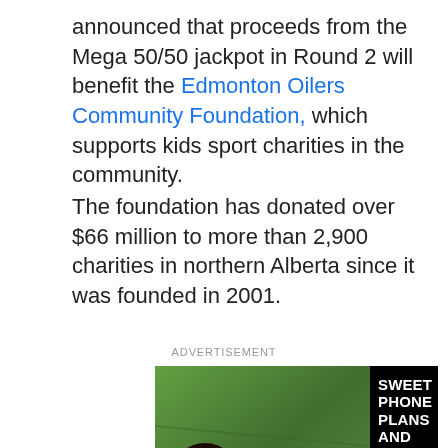announced that proceeds from the Mega 50/50 jackpot in Round 2 will benefit the Edmonton Oilers Community Foundation, which supports kids sport charities in the community.
The foundation has donated over $66 million to more than 2,900 charities in northern Alberta since it was founded in 2001.
ADVERTISEMENT
[Figure (photo): Advertisement with black background. Left side shows a young woman with curly hair wearing a red dress lying on grass smiling. Right side shows text: SWEET PHONE PLANS AND MEMBER BENEFITS. IT'S A THING. DATA PLANS FOR $28/MO.]